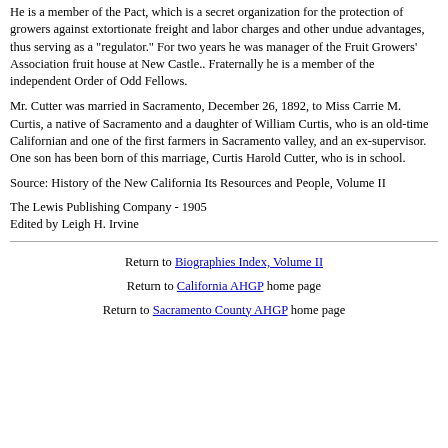He is a member of the Pact, which is a secret organization for the protection of growers against extortionate freight and labor charges and other undue advantages, thus serving as a "regulator." For two years he was manager of the Fruit Growers' Association fruit house at New Castle.. Fraternally he is a member of the independent Order of Odd Fellows.
Mr. Cutter was married in Sacramento, December 26, 1892, to Miss Carrie M. Curtis, a native of Sacramento and a daughter of William Curtis, who is an old-time Californian and one of the first farmers in Sacramento valley, and an ex-supervisor. One son has been born of this marriage, Curtis Harold Cutter, who is in school.
Source: History of the New California Its Resources and People, Volume II
The Lewis Publishing Company - 1905
Edited by Leigh H. Irvine
Return to Biographies Index, Volume II
Return to California AHGP home page
Return to Sacramento County AHGP home page